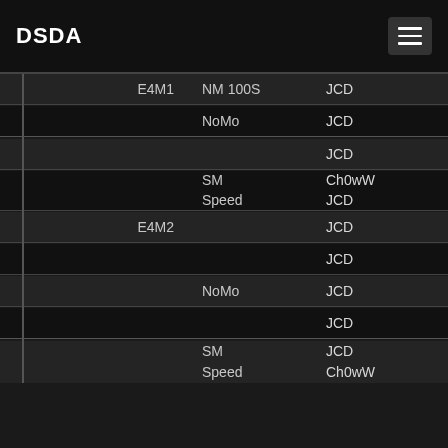DSDA
|  | Map | Category | Player | ... |
| --- | --- | --- | --- | --- |
|  | E4M1 | NM 100S | JCD | C... |
|  |  | NoMo | JCD | H... |
|  |  |  | JCD | H... |
|  |  | SM Speed | Ch0wW | H... |
|  |  |  | JCD | H... |
|  | E4M2 |  | JCD | H... |
|  |  |  | JCD | H... |
|  |  | NoMo | JCD | H... |
|  |  |  | JCD | H... |
|  |  | SM Speed | JCD | H... |
|  |  |  | Ch0wW | H... |